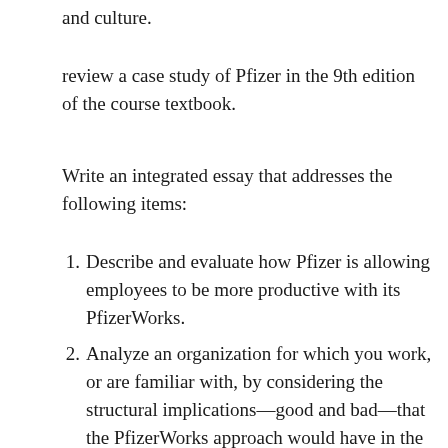and culture.
review a case study of Pfizer in the 9th edition of the course textbook.
Write an integrated essay that addresses the following items:
Describe and evaluate how Pfizer is allowing employees to be more productive with its PfizerWorks.
Analyze an organization for which you work, or are familiar with, by considering the structural implications—good and bad—that the PfizerWorks approach would have in the specifics of productivity. (Think in